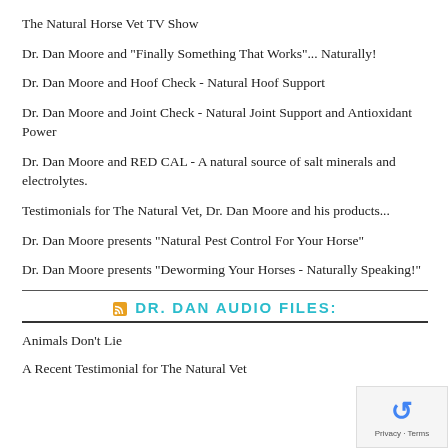The Natural Horse Vet TV Show
Dr. Dan Moore and "Finally Something That Works"... Naturally!
Dr. Dan Moore and Hoof Check - Natural Hoof Support
Dr. Dan Moore and Joint Check - Natural Joint Support and Antioxidant Power
Dr. Dan Moore and RED CAL - A natural source of salt minerals and electrolytes.
Testimonials for The Natural Vet, Dr. Dan Moore and his products...
Dr. Dan Moore presents "Natural Pest Control For Your Horse"
Dr. Dan Moore presents "Deworming Your Horses - Naturally Speaking!"
DR. DAN AUDIO FILES:
Animals Don't Lie
A Recent Testimonial for The Natural Vet